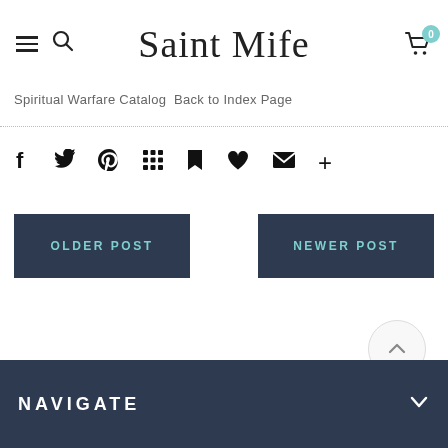Saint Mife
Spiritual Warfare Catalog Back to Index Page
[Figure (infographic): Social sharing icons row: Facebook, Twitter, Pinterest, Grid/Apps, Bookmark, Heart/Like, Email, Plus]
OLDER POST
NEWER POST
[Figure (other): Scroll to top button with upward chevron arrow]
NAVIGATE